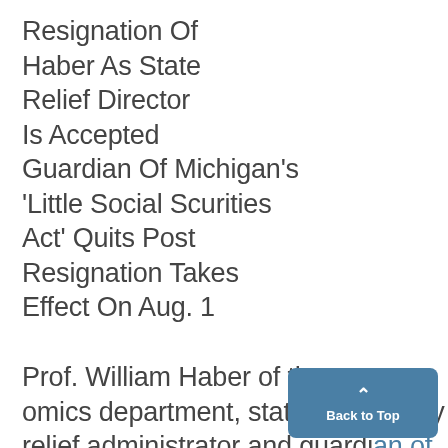Resignation Of Haber As State Relief Director Is Accepted Guardian Of Michigan's 'Little Social Scurities Act' Quits Post Resignation Takes Effect On Aug. 1
Prof. William Haber of the economics department, state emergency relief administrator and guardian of Michigan's "Little Social Security Act",